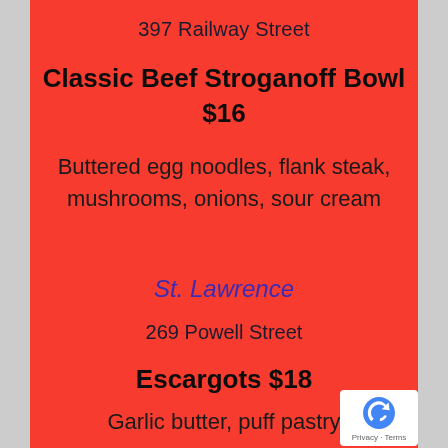397 Railway Street
Classic Beef Stroganoff Bowl $16
Buttered egg noodles, flank steak, mushrooms, onions, sour cream
St. Lawrence
269 Powell Street
Escargots $18
Garlic butter, puff pastry